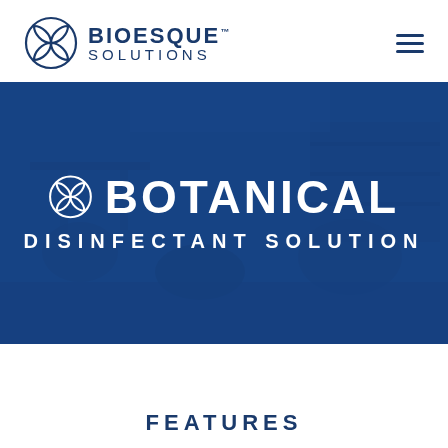BIOESQUE SOLUTIONS
[Figure (photo): Blue-tinted hero image of a classroom/office environment overlaid with dark blue, showing the Botanical Disinfectant Solution branding in white text]
BOTANICAL DISINFECTANT SOLUTION
FEATURES